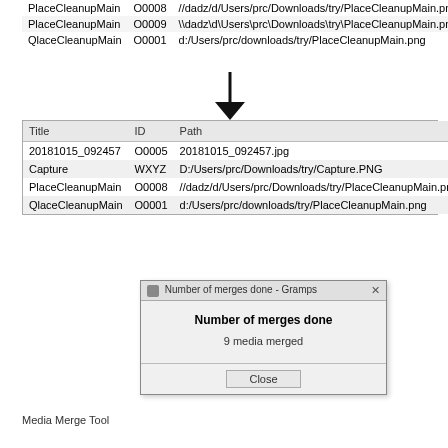[Figure (screenshot): Screenshot of a media list table showing Title, ID, Path columns with rows: PlaceCleanupMain O0008 //dadz/d/Users/prc/Downloads/try/PlaceCleanupMain.png; PlaceCleanupMain O0009 \dadz\d\Users\prc\Downloads\try\PlaceCleanupMain.png; QlaceCleanupMain O0001 d:/Users/prc/downloads/try/PlaceCleanupMain.png. Then a down arrow, followed by a second table with same columns showing: 20181015_092457 O0005 20181015_092457.jpg; Capture WXYZ D:/Users/prc/Downloads/try/Capture.PNG; PlaceCleanupMain O0008 //dadz/d/Users/prc/Downloads/try/PlaceCleanupMain.png; QlaceCleanupMain O0001 d:/Users/prc/downloads/try/PlaceCleanupMain.png. A dialog box overlaid: 'Number of merges done - Gramps' with message 'Number of merges done', '9 media merged', and a Close button.]
Media Merge Tool
The Merge Media tool can search your database for media file entries that are pointing to the same actual file and when found, they can be merged together.
Usage